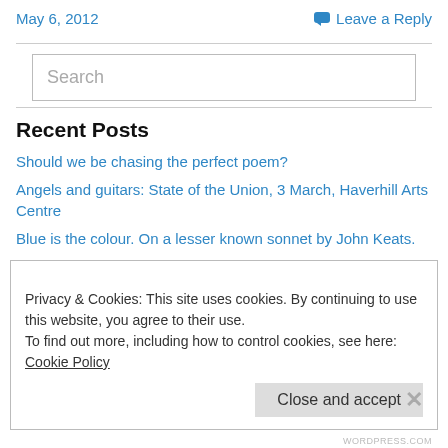May 6, 2012
Leave a Reply
[Figure (other): Search input box with placeholder text 'Search']
Recent Posts
Should we be chasing the perfect poem?
Angels and guitars: State of the Union, 3 March, Haverhill Arts Centre
Blue is the colour. On a lesser known sonnet by John Keats.
Privacy & Cookies: This site uses cookies. By continuing to use this website, you agree to their use. To find out more, including how to control cookies, see here: Cookie Policy
Close and accept